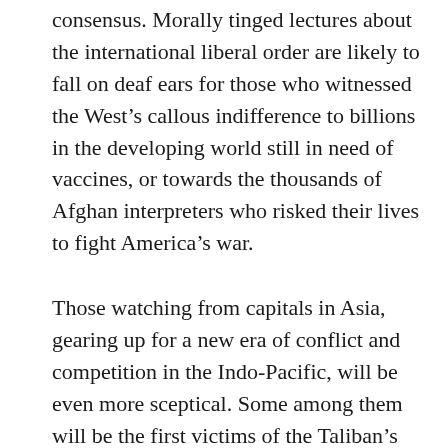consensus. Morally tinged lectures about the international liberal order are likely to fall on deaf ears for those who witnessed the West's callous indifference to billions in the developing world still in need of vaccines, or towards the thousands of Afghan interpreters who risked their lives to fight America's war.
Those watching from capitals in Asia, gearing up for a new era of conflict and competition in the Indo-Pacific, will be even more sceptical. Some among them will be the first victims of the Taliban's willingness to shelter and nurture terrorist groups. More importantly,